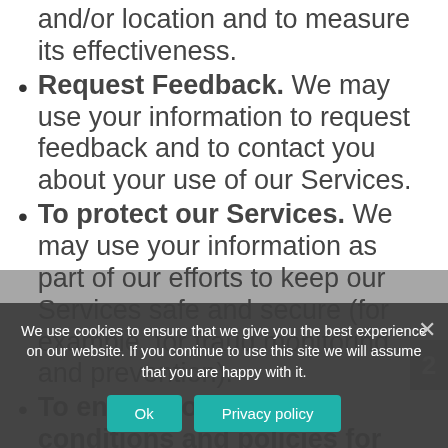and/or location and to measure its effectiveness.
Request Feedback. We may use your information to request feedback and to contact you about your use of our Services.
To protect our Services. We may use your information as part of our efforts to keep our Services safe and secure (for example, for fraud monitoring and prevention).
To enforce our terms, conditions and policies for Business Purposes, Legal
To respond to legal requests and prevent harm. If we receive a subpoena h… request, we
We use cookies to ensure that we give you the best experience on our website. If you continue to use this site we will assume that you are happy with it.